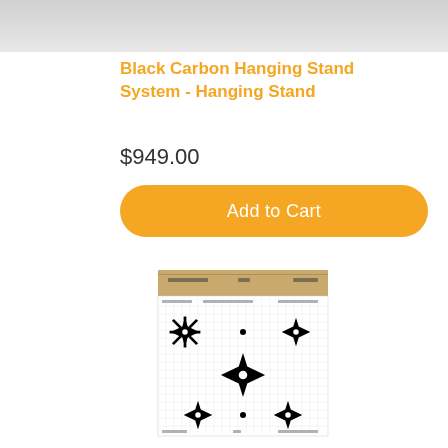[Figure (photo): Top portion of product image (partially visible), gray background]
Black Carbon Hanging Stand System - Hanging Stand
$949.00
Add to Cart
[Figure (photo): Shooting target paper with crosshair/sight-in grid targets printed on it, showing 5 crosshair targets arranged in a pattern on a white grid sheet with a cardboard header strip]